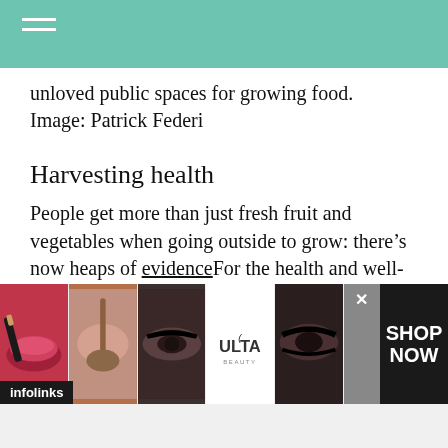unloved public spaces for growing food. Image: Patrick Federi
Harvesting health
People get more than just fresh fruit and vegetables when going outside to grow: there’s now heaps of evidenceFor the health and well-being benefits of spending time outdoors. Our researchIt is possible to reap
[Figure (other): Infolinks advertisement banner showing beauty/makeup images and Ulta Beauty branding with SHOP NOW call to action]